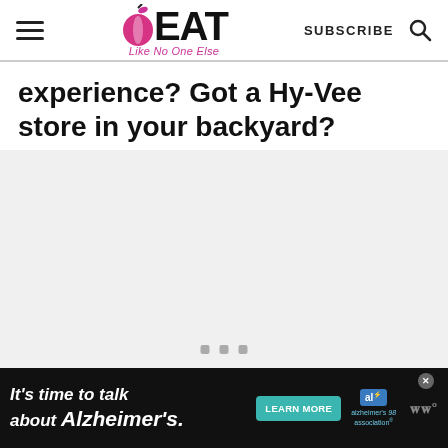EAT Like No One Else — SUBSCRIBE
experience? Got a Hy-Vee store in your backyard?
[Figure (other): Large light gray content/image placeholder area with three small square dot navigation indicators at the bottom center]
[Figure (other): Advertisement banner: black background with italic white text 'It's time to talk about Alzheimer's.' A teal 'LEARN MORE' button, Alzheimer's Association logo (blue AL box with waves), and WW logo in gray on the right. Close/X button in upper right corner.]